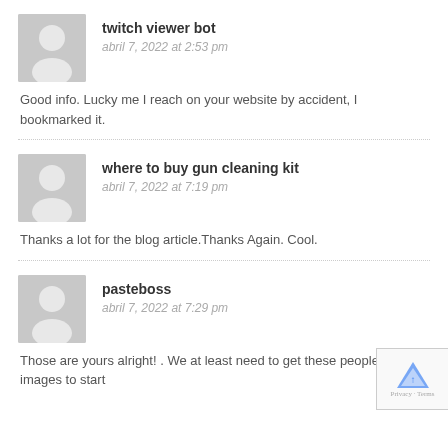twitch viewer bot
abril 7, 2022 at 2:53 pm
Good info. Lucky me I reach on your website by accident, I bookmarked it.
where to buy gun cleaning kit
abril 7, 2022 at 7:19 pm
Thanks a lot for the blog article.Thanks Again. Cool.
pasteboss
abril 7, 2022 at 7:29 pm
Those are yours alright! . We at least need to get these people stealing images to start